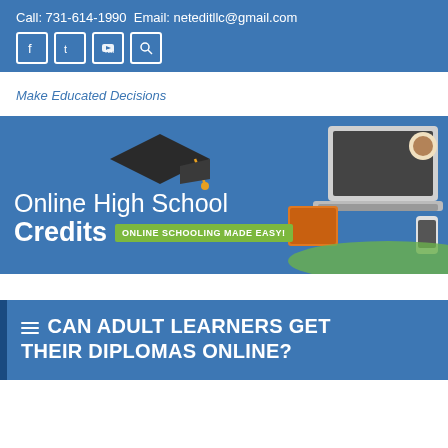Call: 731-614-1990 Email: neteditllc@gmail.com
Make Educated Decisions
[Figure (illustration): Online High School Credits website banner with graduation cap, laptop, and tagline 'ONLINE SCHOOLING MADE EASY!']
CAN ADULT LEARNERS GET THEIR DIPLOMAS ONLINE?